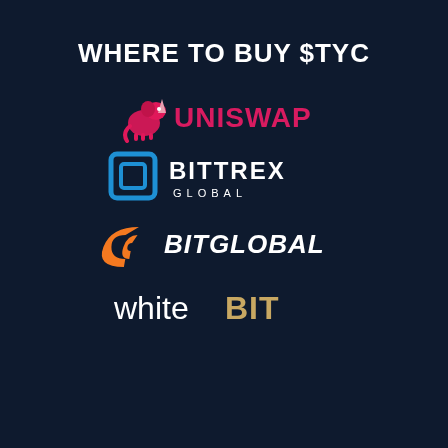WHERE TO BUY $TYC
[Figure (logo): Uniswap logo: pink unicorn icon with UNISWAP text in pink]
[Figure (logo): Bittrex Global logo: blue square bracket icon with BITTREX GLOBAL text in white]
[Figure (logo): BitGlobal logo: orange stylized C icon with BITGLOBAL text in white italic]
[Figure (logo): WhiteBIT logo: 'white' in white regular font and 'BIT' in gold bold font]